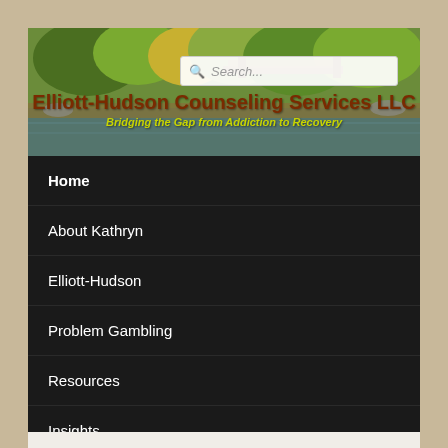[Figure (screenshot): Website header with nature/pond background image showing a wooden bridge, green trees and yellow foliage reflected in water. Contains a search bar and the site title 'Elliott-Hudson Counseling Services LLC' with subtitle 'Bridging the Gap from Addiction to Recovery']
Home
About Kathryn
Elliott-Hudson
Problem Gambling
Resources
Insights
Intake Forms